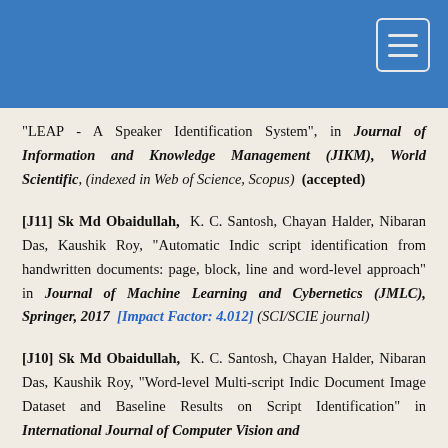“LEAP - A Speaker Identification System”, in Journal of Information and Knowledge Management (JIKM), World Scientific, (indexed in Web of Science, Scopus) (accepted)
[J11] Sk Md Obaidullah, K. C. Santosh, Chayan Halder, Nibaran Das, Kaushik Roy, "Automatic Indic script identification from handwritten documents: page, block, line and word-level approach" in Journal of Machine Learning and Cybernetics (JMLC), Springer, 2017 [Impact Factor: 4.012] (SCI/SCIE journal)
[J10] Sk Md Obaidullah, K. C. Santosh, Chayan Halder, Nibaran Das, Kaushik Roy, "Word-level Multi-script Indic Document Image Dataset and Baseline Results on Script Identification" in International Journal of Computer Vision and Image Processing (IJCVIP), IGI Global, 2017, ...